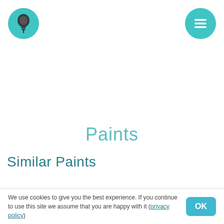[Figure (logo): Teal circular icon with white lightbulb symbol, top-left header]
[Figure (logo): Teal circular icon with white menu/hamburger lines, top-right header]
Paints
Similar Paints
Para
Aqua / Krylon
We use cookies to give you the best experience. If you continue to use this site we assume that you are happy with it (privacy policy)